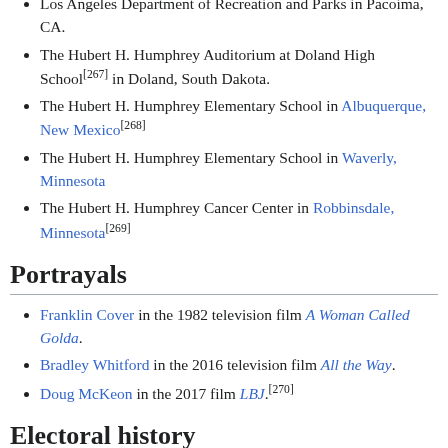Los Angeles Department of Recreation and Parks in Pacoima, CA.
The Hubert H. Humphrey Auditorium at Doland High School[267] in Doland, South Dakota.
The Hubert H. Humphrey Elementary School in Albuquerque, New Mexico[268]
The Hubert H. Humphrey Elementary School in Waverly, Minnesota
The Hubert H. Humphrey Cancer Center in Robbinsdale, Minnesota[269]
Portrayals
Franklin Cover in the 1982 television film A Woman Called Golda.
Bradley Whitford in the 2016 television film All the Way.
Doug McKeon in the 2017 film LBJ.[270]
Electoral history
Main article: Electoral history of Hubert Humphrey